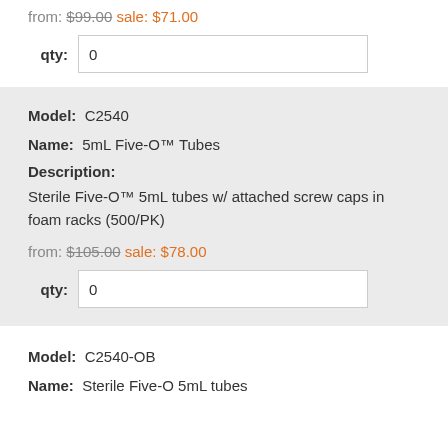from: $99.00  sale: $71.00
qty: 0
Model: C2540
Name: 5mL Five-O™ Tubes
Description:
Sterile Five-O™ 5mL tubes w/ attached screw caps in foam racks (500/PK)
from: $105.00  sale: $78.00
qty: 0
Model: C2540-OB
Name: Sterile Five-O 5mL tubes